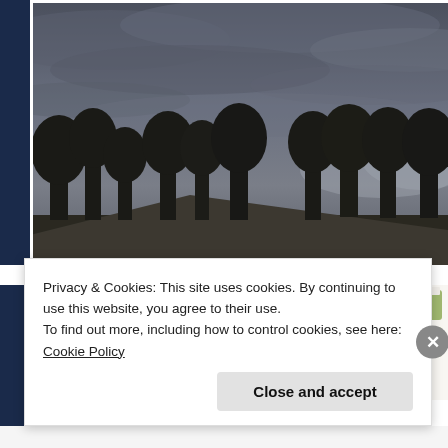[Figure (photo): Outdoor photo showing overcast dark grey stormy sky with tree silhouettes below and the top edge of a building/shed roof. Dark, moody composition.]
[Figure (screenshot): Partial screenshot showing a map (beige background) and a food/restaurant app or website thumbnail with food photos.]
Privacy & Cookies: This site uses cookies. By continuing to use this website, you agree to their use.
To find out more, including how to control cookies, see here: Cookie Policy
Close and accept